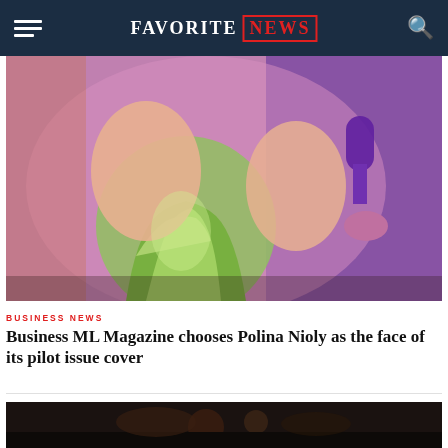FAVORITE NEWS
[Figure (photo): Woman in green dress holding a microphone under pink/purple stage lighting]
BUSINESS NEWS
Business ML Magazine chooses Polina Nioly as the face of its pilot issue cover
[Figure (photo): Dark nighttime scene, partially visible at bottom of page]